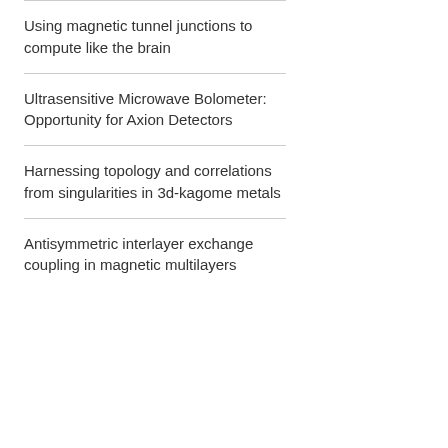Using magnetic tunnel junctions to compute like the brain
Ultrasensitive Microwave Bolometer: Opportunity for Axion Detectors
Harnessing topology and correlations from singularities in 3d-kagome metals
Antisymmetric interlayer exchange coupling in magnetic multilayers